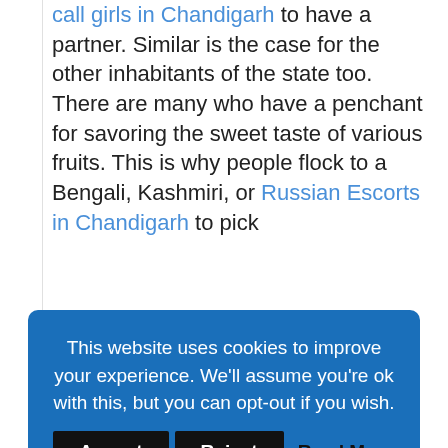call girls in Chandigarh to have a partner. Similar is the case for the other inhabitants of the state too. There are many who have a penchant for savoring the sweet taste of various fruits. This is why people flock to a Bengali, Kashmiri, or Russian Escorts in Chandigarh to pick
This website uses cookies to improve your experience. We'll assume you're ok with this, but you can opt-out if you wish. [Accept] [Reject] Read More
on the streets or go to brothels for a speedy sexual encounters. Chandigarh escorts service on the street aren't secure and they aren't very reliable. There is a high chance of being scammed. Brothels are also not thought to be the ideal place for sexual encounters due to a variety of